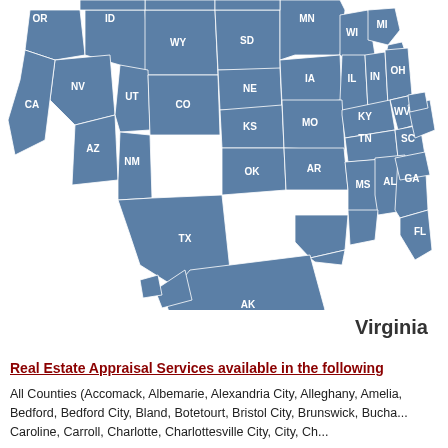[Figure (map): US map with states labeled by abbreviation, all states shaded in steel blue/slate blue color, showing coverage area for real estate appraisal services. Visible states include OR, ID, WY, SD, MN, WI, MI, NV, UT, CO, NE, IA, IL, IN, OH, WV, CA, AZ, NM, KS, MO, KY, TN, SC, MS, AL, GA, OK, AR, TX, LA, FL, AK, HI.]
Virginia
Real Estate Appraisal Services available in the following
All Counties (Accomack, Albemarie, Alexandria City, Alleghany, Amelia, Bedford, Bedford City, Bland, Botetourt, Bristol City, Brunswick, Bucha, Caroline, Carroll, Charlotte, Charlottesville City, City...